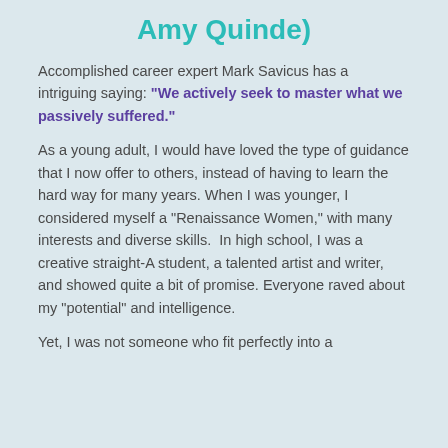Amy Quinde)
Accomplished career expert Mark Savicus has a intriguing saying: “We actively seek to master what we passively suffered.”
As a young adult, I would have loved the type of guidance that I now offer to others, instead of having to learn the hard way for many years. When I was younger, I considered myself a “Renaissance Women,” with many interests and diverse skills.  In high school, I was a creative straight-A student, a talented artist and writer, and showed quite a bit of promise. Everyone raved about my “potential” and intelligence.
Yet, I was not someone who fit perfectly into a